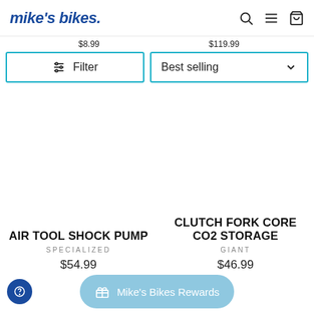mike's bikes. [search] [menu] [cart]
$8.99   $119.99
Filter   Best selling
AIR TOOL SHOCK PUMP
SPECIALIZED
$54.99
CLUTCH FORK CORE CO2 STORAGE
GIANT
$46.99
Mike's Bikes Rewards